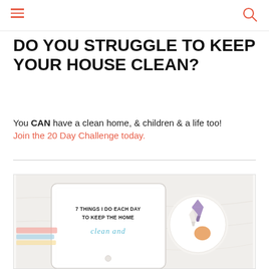navigation header with hamburger menu and search icon
DO YOU STRUGGLE TO KEEP YOUR HOUSE CLEAN?
You CAN have a clean home, & children & a life too! Join the 20 Day Challenge today.
[Figure (photo): Photo of a tablet displaying text '7 THINGS I DO EACH DAY TO KEEP THE HOME clean and...' alongside a white bowl with crystals/stones, on a light marble surface]